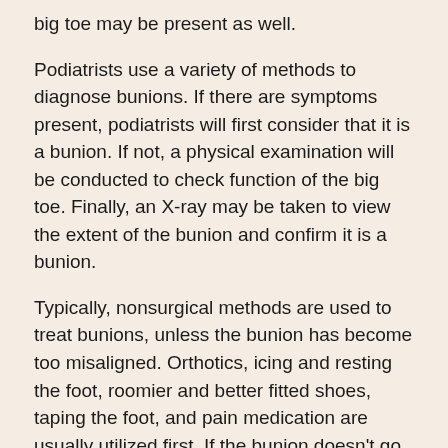big toe may be present as well.
Podiatrists use a variety of methods to diagnose bunions. If there are symptoms present, podiatrists will first consider that it is a bunion. If not, a physical examination will be conducted to check function of the big toe. Finally, an X-ray may be taken to view the extent of the bunion and confirm it is a bunion.
Typically, nonsurgical methods are used to treat bunions, unless the bunion has become too misaligned. Orthotics, icing and resting the foot, roomier and better fitted shoes, taping the foot, and pain medication are usually utilized first. If the bunion doesn't go away or causes extreme pain, surgery may be required. Surgeons will either remove part of the swollen tissue or bone to straighten the toe out.
If you have a bunion, it is recommended to see a podiatrist. The longer it is left untreated, the worse